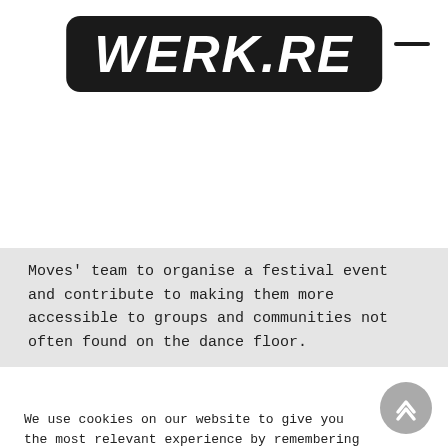[Figure (logo): WERK.RE logo — white bold italic text on black rounded rectangle background]
Moves' team to organise a festival event and contribute to making them more accessible to groups and communities not often found on the dance floor.
We use cookies on our website to give you the most relevant experience by remembering your preferences and repeat visits. By clicking “Accept All”, you consent to the use of ALL the cookies. However, you may visit “Cookie Settings” to provide a controlled consent.